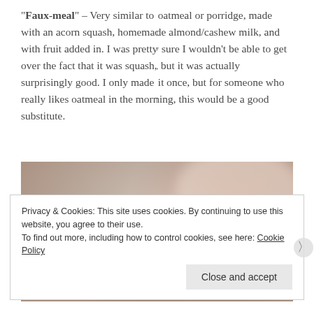“Faux-meal” – Very similar to oatmeal or porridge, made with an acorn squash, homemade almond/cashew milk, and with fruit added in. I was pretty sure I wouldn’t be able to get over the fact that it was squash, but it was actually surprisingly good. I only made it once, but for someone who really likes oatmeal in the morning, this would be a good substitute.
[Figure (photo): Close-up photo of a spoon lifting food (faux-meal/oatmeal substitute) from a white bowl, blurred background in warm tones.]
Privacy & Cookies: This site uses cookies. By continuing to use this website, you agree to their use.
To find out more, including how to control cookies, see here: Cookie Policy